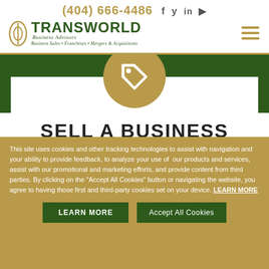(404) 666-4486
[Figure (logo): Transworld Business Advisors logo with oval icon, company name, and tagline: Business Sales • Franchises • Mergers & Acquisitions]
SELL A BUSINESS
Our Sellers come to us to help them achieve
This site uses cookies and other tracking technologies to assist with navigation and your ability to provide feedback, to analyze your use of our products and services, assist with our promotional and marketing efforts, and provide content from third parties. By clicking on the "Accept All Cookies" button or navigating the website, you agree to having those first and third-party cookies set on your device. LEARN MORE
LEARN MORE
Accept All Cookies